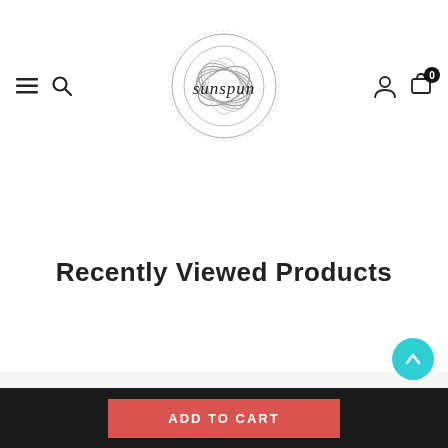[Figure (logo): Sunspun logo — a circular yarn ball illustration with the word 'sunspun' in handwritten script, navigation icons (hamburger menu, search) on the left, user account and cart (0) icons on the right]
Recently Viewed Products
Sunspun
185 Canterbury Rd
Canterbury VIC 3126

Phone: +613 9830 1609

Email: shop@sunspun.com.au
[Figure (infographic): Social media icons: Facebook, Instagram, YouTube]
ADD TO CART